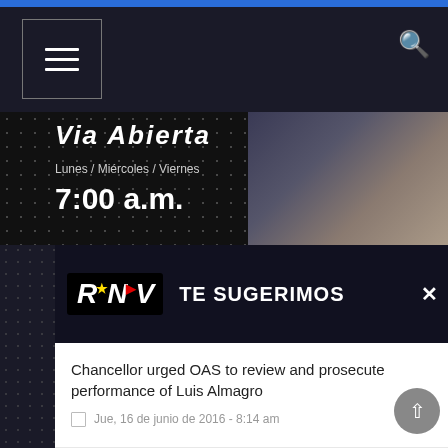RNV — TE SUGERIMOS
Lunes / Miércoles / Viernes
7:00 a.m.
TE SUGERIMOS
Chancellor urged OAS to review and prosecute performance of Luis Almagro
Jue, 16 de junio de 2016 - 8:14 am
Support! 51% of Venezuelans support Maduro in fighting the economic war
Lun, 17 de octubre de 2016 - 8:48 am